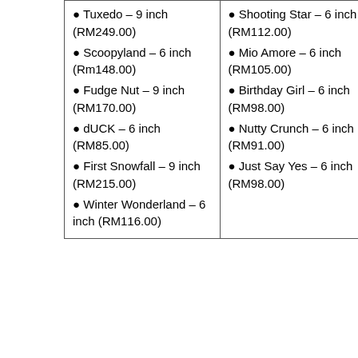| Tuxedo – 9 inch (RM249.00)
Scoopyland – 6 inch (Rm148.00)
Fudge Nut – 9 inch (RM170.00)
dUCK – 6 inch (RM85.00)
First Snowfall – 9 inch (RM215.00)
Winter Wonderland – 6 inch (RM116.00) | Shooting Star – 6 inch (RM112.00)
Mio Amore – 6 inch (RM105.00)
Birthday Girl – 6 inch (RM98.00)
Nutty Crunch – 6 inch (RM91.00)
Just Say Yes – 6 inch (RM98.00) |